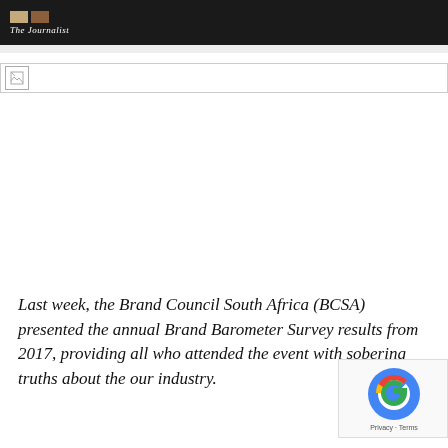The Journalist
[Figure (other): Broken/placeholder image banner]
Last week, the Brand Council South Africa (BCSA) presented the annual Brand Barometer Survey results from 2017, providing all who attended the event with sobering truths about the our industry.